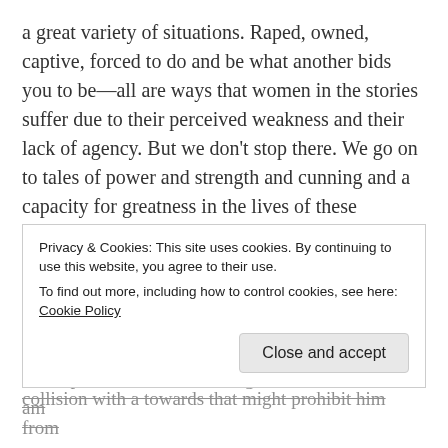a great variety of situations.  Raped, owned, captive, forced to do and be what another bids you to be—all are ways that women in the stories suffer due to their perceived weakness and their lack of agency.  But we don't stop there.  We go on to tales of power and strength and cunning and a capacity for greatness in the lives of these fictional women.
I sometimes feel like a fictional woman.
That might sound strange.  I'm not bipolar or schizophrenic and manifesting with delusions that I am
Privacy & Cookies: This site uses cookies. By continuing to use this website, you agree to their use.
To find out more, including how to control cookies, see here: Cookie Policy
Close and accept
collision with a towards that might prohibit him from